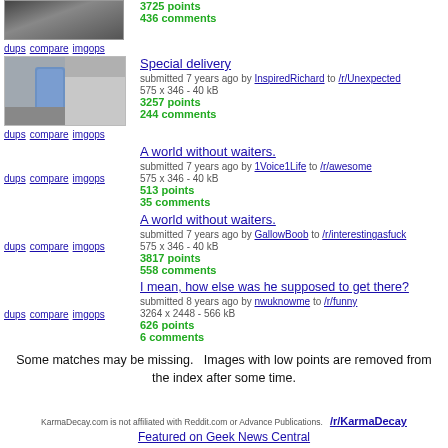3725 points
436 comments
dups compare imgops
[Figure (photo): Thumbnail of a hand holding a glass near a table]
Special delivery
submitted 7 years ago by InspiredRichard to /r/Unexpected
575 x 346 - 40 kB
3257 points
244 comments
dups compare imgops
dups compare imgops
A world without waiters.
submitted 7 years ago by 1Voice1Life to /r/awesome
575 x 346 - 40 kB
513 points
35 comments
dups compare imgops
A world without waiters.
submitted 7 years ago by GallowBoob to /r/interestingasfuck
575 x 346 - 40 kB
3817 points
558 comments
dups compare imgops
I mean, how else was he supposed to get there?
submitted 8 years ago by nwuknowme to /r/funny
3264 x 2448 - 566 kB
626 points
6 comments
Some matches may be missing.   Images with low points are removed from the index after some time.
KarmaDecay.com is not affiliated with Reddit.com or Advance Publications.  /r/KarmaDecay
Featured on Geek News Central